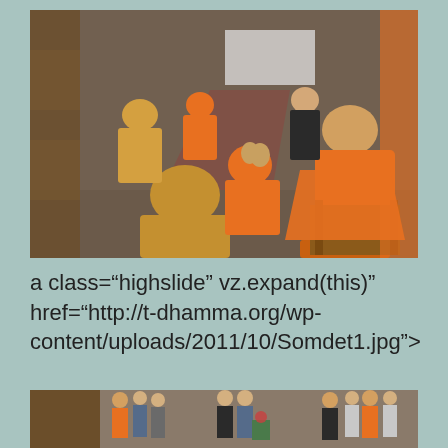[Figure (photo): Buddhist monks in orange robes bowing or paying respects to a senior monk seated on an ornate chair, with a red carpet runner visible and a man in a suit seated in the background.]
a class="highslide" onclick="return vz.expand(this)" href="http://t-dhamma.org/wp-content/uploads/2011/10/Somdet1.jpg">
[Figure (photo): A wide indoor scene showing multiple people including monks in orange robes and laypeople in a hall or meeting room.]